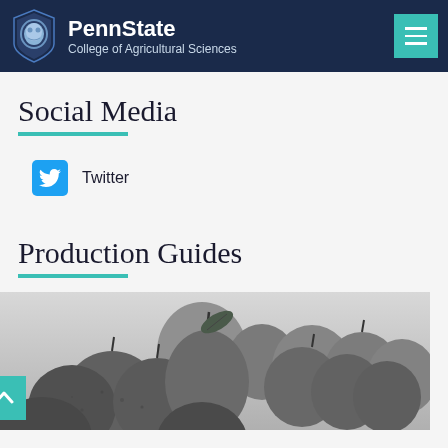PennState College of Agricultural Sciences
Social Media
Twitter
Production Guides
[Figure (photo): Black and white illustration of apples and pears with leaves]